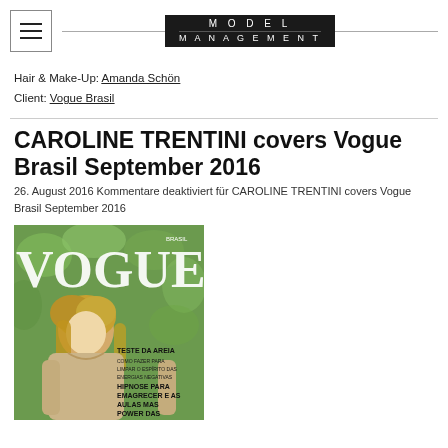MODEL MANAGEMENT
Hair & Make-Up: Amanda Schön
Client: Vogue Brasil
CAROLINE TRENTINI covers Vogue Brasil September 2016
26. August 2016 Kommentare deaktiviert für CAROLINE TRENTINI covers Vogue Brasil September 2016
[Figure (photo): Vogue Brasil September 2016 magazine cover featuring a blonde model in a beige coat, with VOGUE text prominently displayed and headline text including 'TESTE DA AREIA', 'HIPNOSE PARA EMAGRECER E AS AULAS MAS POWER DAS ACADEMIAS']